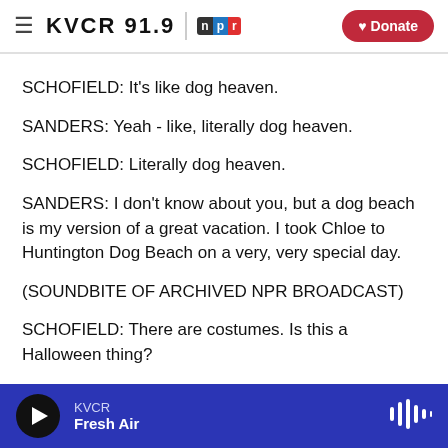KVCR 91.9 NPR | Donate
SCHOFIELD: It's like dog heaven.
SANDERS: Yeah - like, literally dog heaven.
SCHOFIELD: Literally dog heaven.
SANDERS: I don't know about you, but a dog beach is my version of a great vacation. I took Chloe to Huntington Dog Beach on a very, very special day.
(SOUNDBITE OF ARCHIVED NPR BROADCAST)
SCHOFIELD: There are costumes. Is this a Halloween thing?
KVCR Fresh Air